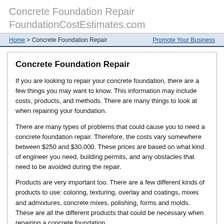Concrete Foundation Repair
FoundationCostEstimates.com
Home > Concrete Foundation Repair | Promote Your Business
Concrete Foundation Repair
If you are looking to repair your concrete foundation, there are a few things you may want to know. This information may include costs, products, and methods. There are many things to look at when repairing your foundation.
There are many types of problems that could cause you to need a concrete foundation repair. Therefore, the costs vary somewhere between $250 and $30,000. These prices are based on what kind of engineer you need, building permits, and any obstacles that need to be avoided during the repair.
Products are very important too. There are a few different kinds of products to use: coloring, texturing, overlay and coatings, mixes and admixtures, concrete mixes, polishing, forms and molds. These are all the different products that could be necessary when repairing a concrete foundation.
There are a couple of different methods to use when you repair concrete foundations. One is called piering, which is when you drive